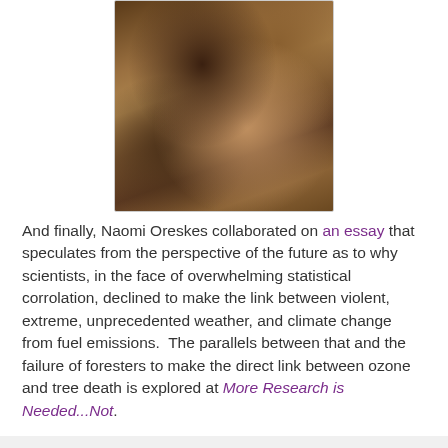[Figure (photo): Close-up photograph of a tree trunk showing damaged, peeling, and decaying bark with rough brown and dark textures.]
And finally, Naomi Oreskes collaborated on an essay that speculates from the perspective of the future as to why scientists, in the face of overwhelming statistical corrolation, declined to make the link between violent, extreme, unprecedented weather, and climate change from fuel emissions.  The parallels between that and the failure of foresters to make the direct link between ozone and tree death is explored at More Research is Needed...Not.
Gail Zawacki at 2:03 PM   4 comments: